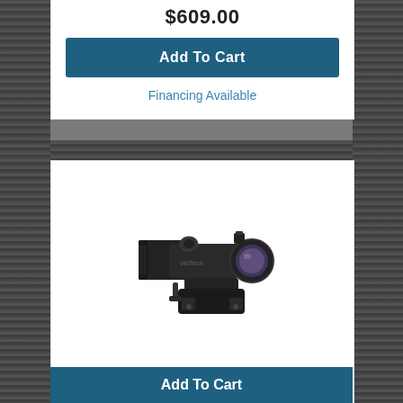$609.00
Add To Cart
Financing Available
[Figure (photo): EOTech G33 STS Switch to Side Magnifier - black tactical magnifier with mounting bracket]
G33 STS Switch to Side Magnifier
G33STS
EOTech
Magnification: 3x
$649.00
Add To Cart